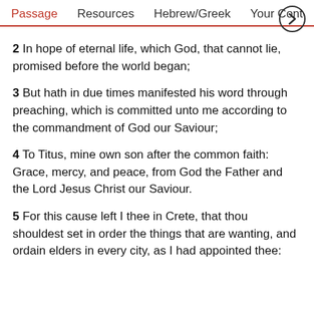Passage   Resources   Hebrew/Greek   Your Conte >
2 In hope of eternal life, which God, that cannot lie, promised before the world began;
3 But hath in due times manifested his word through preaching, which is committed unto me according to the commandment of God our Saviour;
4 To Titus, mine own son after the common faith: Grace, mercy, and peace, from God the Father and the Lord Jesus Christ our Saviour.
5 For this cause left I thee in Crete, that thou shouldest set in order the things that are wanting, and ordain elders in every city, as I had appointed thee: